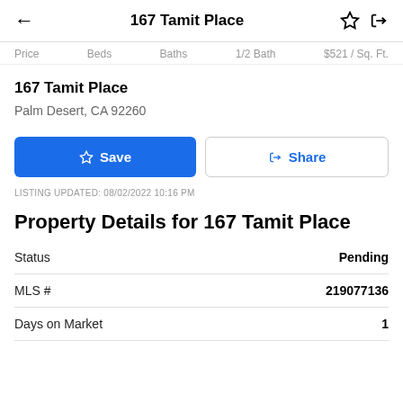167 Tamit Place
Price   Beds   Baths   1/2 Bath   $521 / Sq. Ft.
167 Tamit Place
Palm Desert, CA 92260
Save   Share
LISTING UPDATED: 08/02/2022 10:16 PM
Property Details for 167 Tamit Place
|  |  |
| --- | --- |
| Status | Pending |
| MLS # | 219077136 |
| Days on Market | 1 |